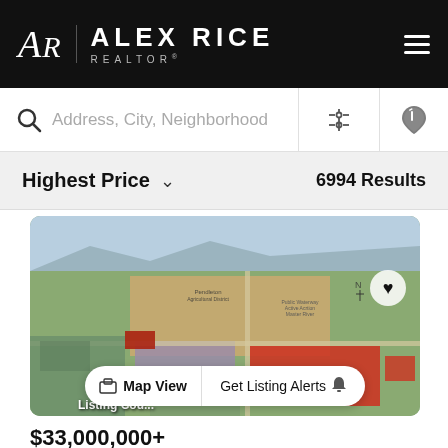ALEX RICE REALTOR
Address, City, Neighborhood
Highest Price  6994 Results
[Figure (photo): Aerial satellite view of land parcels with a large red highlighted property and surrounding development in a plains region.]
Listing Cou...
Map View  Get Listing Alerts
$33,000,000+